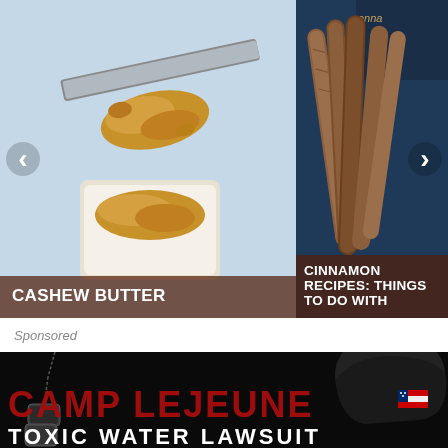[Figure (photo): Carousel showing two food photos side by side: left image shows cashew butter being spread with a knife, right image shows cinnamon sticks on a blue background. Navigation arrows on left and right sides. Dark brownish-red bar overlays at bottom of each with text labels.]
CASHEW BUTTER
CINNAMON RECIPES: THINGS TO DO WITH
Sponsored
[Figure (photo): Advertisement banner for Camp Lejeune Toxic Water Lawsuit. Dark/black background with military dog tags on the left, a soldier in helmet with American flag patch on the right. Large red distressed text reads CAMP LEJEUNE and white bold text reads TOXIC WATER LAWSUIT.]